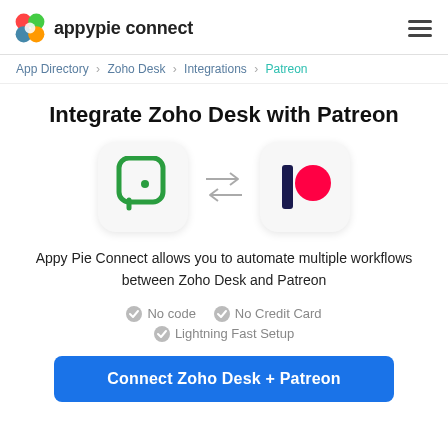appypie connect
App Directory > Zoho Desk > Integrations > Patreon
Integrate Zoho Desk with Patreon
[Figure (logo): Zoho Desk logo icon (green) and Patreon logo icon (dark blue bar with red circle) with bidirectional arrows between them]
Appy Pie Connect allows you to automate multiple workflows between Zoho Desk and Patreon
No code
No Credit Card
Lightning Fast Setup
Connect Zoho Desk + Patreon